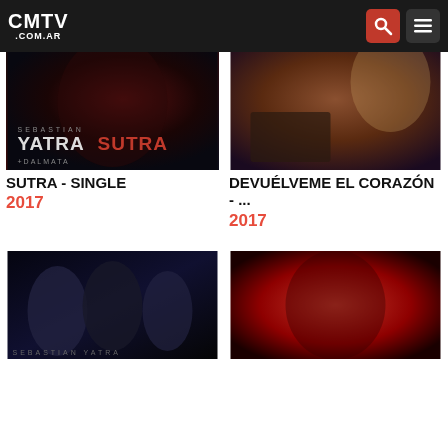CMTV .COM.AR
[Figure (photo): Album cover for Sutra - Single by Sebastian Yatra featuring Dalmata, dark moody portrait]
SUTRA - SINGLE
2017
[Figure (photo): Promotional photo for Devuélveme el Corazón, man at piano in warm tones]
DEVUÉLVEME EL CORAZÓN - ...
2017
[Figure (photo): Album cover featuring Sebastian Yatra with two other artists in dark club setting]
[Figure (photo): Promotional photo on red background with dramatic lighting]